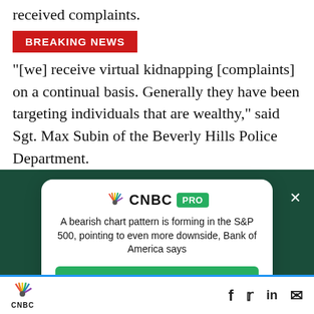received complaints.
BREAKING NEWS
[we] receive virtual kidnapping [complaints] on a continual basis. Generally they have been targeting individuals that are wealthy," said Sgt. Max Subin of the Beverly Hills Police Department.
The Delaware State Police had a sudden spike of
[Figure (screenshot): CNBC PRO subscription modal overlay on dark green background. Contains CNBC PRO logo, text 'A bearish chart pattern is forming in the S&P 500, pointing to even more downside, Bank of America says', and a green SUBSCRIBE NOW button.]
CNBC logo with social media icons: Facebook, Twitter, LinkedIn, Email